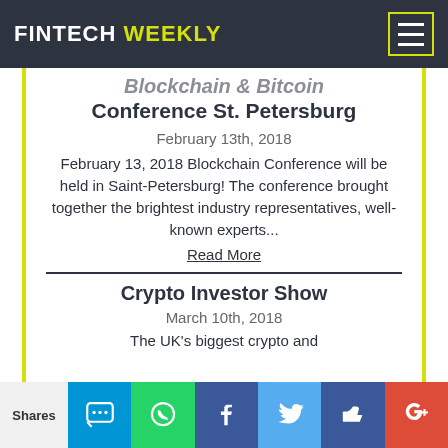FINTECH WEEKLY
Blockchain & Bitcoin Conference St. Petersburg
February 13th, 2018
February 13, 2018 Blockchain Conference will be held in Saint-Petersburg! The conference brought together the brightest industry representatives, well-known experts...
Read More
Crypto Investor Show
March 10th, 2018
The UK's biggest crypto and